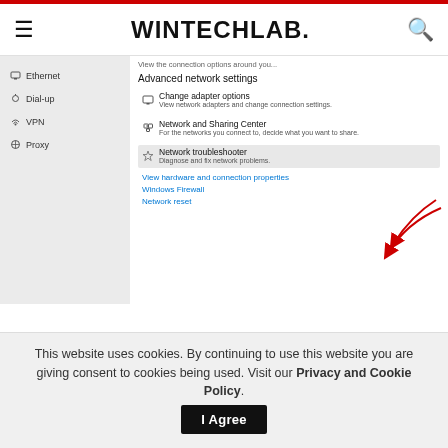WINTECHLAB.
[Figure (screenshot): Windows Network Settings screenshot showing sidebar with Ethernet, Dial-up, VPN, Proxy options and right panel showing Advanced network settings including Change adapter options, Network and Sharing Center, Network troubleshooter (highlighted), View hardware and connection properties, Windows Firewall, and Network reset links. Red arrows point to Network reset link.]
When you click Network reset Link, On the Next screen Make sure to read all the parts in
This website uses cookies. By continuing to use this website you are giving consent to cookies being used. Visit our Privacy and Cookie Policy.